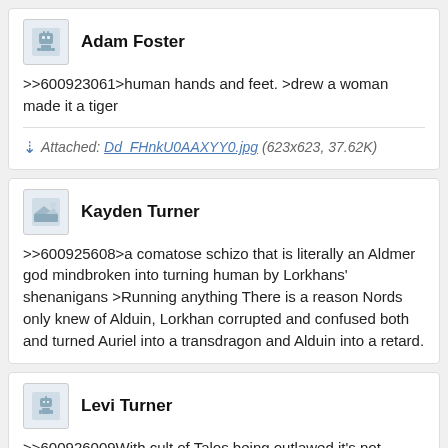Adam Foster
>>600923061>human hands and feet. >drew a woman made it a tiger
Attached: Dd_FHnkU0AAXYY0.jpg (623x623, 37.62K)
Kayden Turner
>>600925608>a comatose schizo that is literally an Aldmer god mindbroken into turning human by Lorkhans' shenanigans >Running anything There is a reason Nords only knew of Alduin, Lorkhan corrupted and confused both and turned Auriel into a transdragon and Alduin into a retard.
Levi Turner
>>600926009With cult of Talos being outlawed it's not surprising.